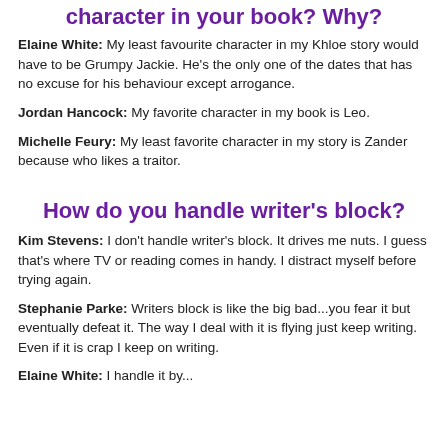character in your book? Why?
Elaine White: My least favourite character in my Khloe story would have to be Grumpy Jackie. He's the only one of the dates that has no excuse for his behaviour except arrogance.
Jordan Hancock: My favorite character in my book is Leo.
Michelle Feury: My least favorite character in my story is Zander because who likes a traitor.
How do you handle writer's block?
Kim Stevens: I don't handle writer's block. It drives me nuts. I guess that's where TV or reading comes in handy. I distract myself before trying again.
Stephanie Parke: Writers block is like the big bad...you fear it but eventually defeat it. The way I deal with it is flying just keep writing. Even if it is crap I keep on writing.
Elaine White: I handle it by...